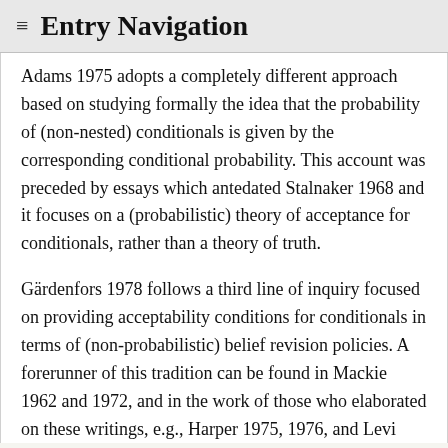≡ Entry Navigation
Adams 1975 adopts a completely different approach based on studying formally the idea that the probability of (non-nested) conditionals is given by the corresponding conditional probability. This account was preceded by essays which antedated Stalnaker 1968 and it focuses on a (probabilistic) theory of acceptance for conditionals, rather than a theory of truth.
Gärdenfors 1978 follows a third line of inquiry focused on providing acceptability conditions for conditionals in terms of (non-probabilistic) belief revision policies. A forerunner of this tradition can be found in Mackie 1962 and 1972, and in the work of those who elaborated on these writings, e.g., Harper 1975, 1976, and Levi 1977. Moreover, Levi 1988 is an important essay that complemented Gärdenfors' work.
Most of the contemporary work on conditional logic can be associated with work done in one of these traditions or combinations of them. But, of course, given the prodigious amount of work done in this field, there are